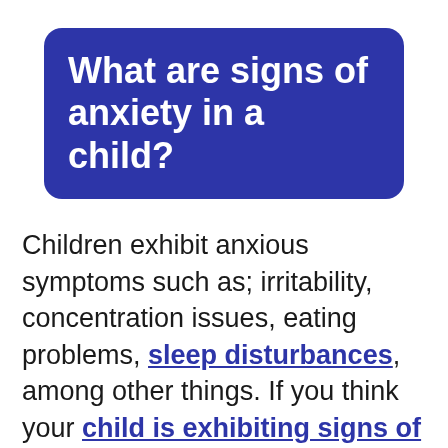What are signs of anxiety in a child?
Children exhibit anxious symptoms such as; irritability, concentration issues, eating problems, sleep disturbances, among other things. If you think your child is exhibiting signs of anxiety then you should